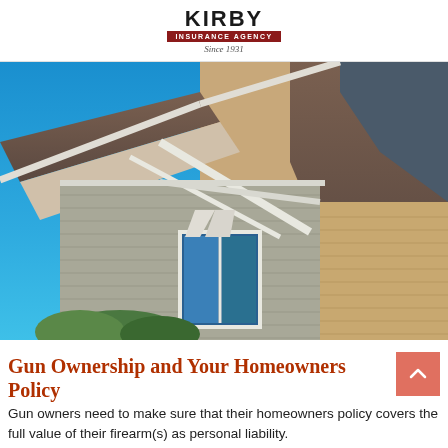KIRBY INSURANCE AGENCY Since 1931
[Figure (photo): Exterior view of a craftsman-style house showing roof gables, white trim, tan and grey siding, blue sky background]
Gun Ownership and Your Homeowners Policy
Gun owners need to make sure that their homeowners policy covers the full value of their firearm(s) as personal liability.